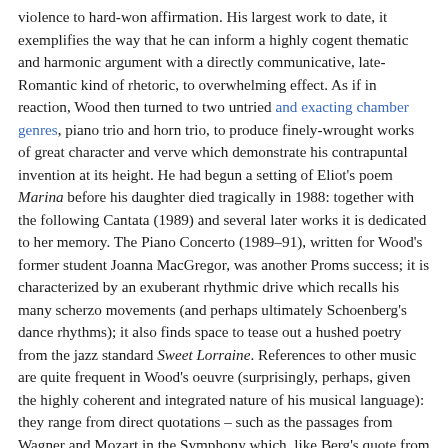violence to hard-won affirmation. His largest work to date, it exemplifies the way that he can inform a highly cogent thematic and harmonic argument with a directly communicative, late-Romantic kind of rhetoric, to overwhelming effect. As if in reaction, Wood then turned to two untried and exacting chamber genres, piano trio and horn trio, to produce finely-wrought works of great character and verve which demonstrate his contrapuntal invention at its height. He had begun a setting of Eliot's poem Marina before his daughter died tragically in 1988: together with the following Cantata (1989) and several later works it is dedicated to her memory. The Piano Concerto (1989–91), written for Wood's former student Joanna MacGregor, was another Proms success; it is characterized by an exuberant rhythmic drive which recalls his many scherzo movements (and perhaps ultimately Schoenberg's dance rhythms); it also finds space to tease out a hushed poetry from the jazz standard Sweet Lorraine. References to other music are quite frequent in Wood's oeuvre (surprisingly, perhaps, given the highly coherent and integrated nature of his musical language): they range from direct quotations – such as the passages from Wagner and Mozart in the Symphony which, like Berg's quote from Tristan in the Lyric Suite, clearly signal an almost programmatic import underlying the musical argument – to gestures wholly appropriated and reconceived (two striking examples are the ending of the Symphony and the opening of the Piano Concerto, with their evocation of equivalent passages in